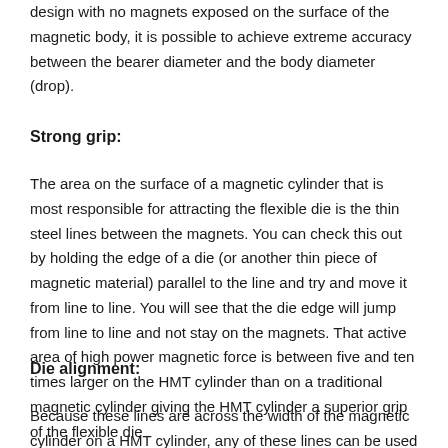design with no magnets exposed on the surface of the magnetic body, it is possible to achieve extreme accuracy between the bearer diameter and the body diameter (drop).
Strong grip:
The area on the surface of a magnetic cylinder that is most responsible for attracting the flexible die is the thin steel lines between the magnets. You can check this out by holding the edge of a die (or another thin piece of magnetic material) parallel to the line and try and move it from line to line. You will see that the die edge will jump from line to line and not stay on the magnets. That active area of high power magnetic force is between five and ten times larger on the HMT cylinder than on a traditional magnetic cylinder giving the HMT cylinder a superior grip of the flexible die
Die alignment:
Because these lines are across the width of the magnetic cylinder on a HMT cylinder, any of these lines can be used to help align the